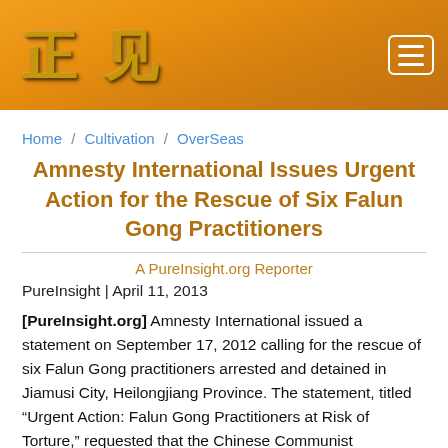正见 [logo with navigation menu icon]
Home / Cultivation / OverSeas
Amnesty International Issues Urgent Action for the Rescue of Six Falun Gong Practitioners
A PureInsight.org Reporter
PureInsight | April 11, 2013
[PureInsight.org] Amnesty International issued a statement on September 17, 2012 calling for the rescue of six Falun Gong practitioners arrested and detained in Jiamusi City, Heilongjiang Province. The statement, titled “Urgent Action: Falun Gong Practitioners at Risk of Torture,” requested that the Chinese Communist government release the practitioners.
The statement read: “Shortly after 7:00 pm on 10 September,